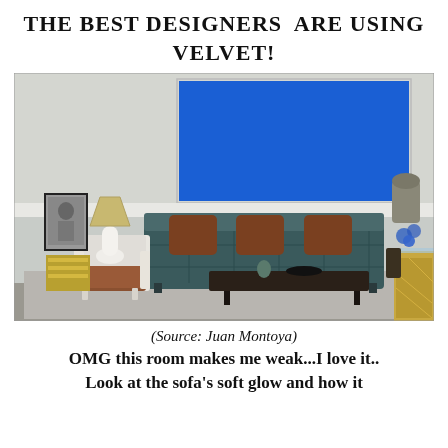THE BEST DESIGNERS ARE USING VELVET!
[Figure (photo): Interior design room featuring a dark teal velvet tufted sofa with brown pillows, a white armchair with brown cushion, a table lamp with beige shade on a white base, a framed black-and-white portrait, a large bright blue abstract painting on the wall, and a gold-trimmed table on the right. The room has a light grey walls and a grey area rug.]
(Source: Juan Montoya)
OMG this room makes me weak...I love it.. Look at the sofa's soft glow and how it